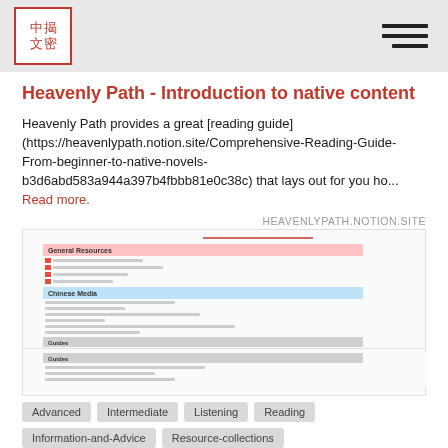中揭文密 [logo] [hamburger menu]
Heavenly Path - Introduction to native content
Heavenly Path provides a great [reading guide] (https://heavenlypath.notion.site/Comprehensive-Reading-Guide-From-beginner-to-native-novels-b3d6abd583a944a397b4fbbb81e0c38c) that lays out for you ho... Read more.
HEAVENLYPATH.NOTION.SITE
[Figure (screenshot): Screenshot of a Notion page with sections: General Resources, Chinese Media, Guides — each with red/blue section headers and listed links]
Advanced
Intermediate
Listening
Reading
Information-and-Advice
Resource-collections
Jennifer – 5 months
♡ 2  💬 0